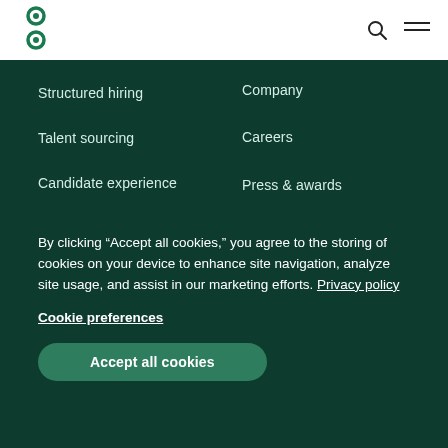[Figure (logo): Green Greenhouse/Greenhouse logo mark in dark green on white background]
Structured hiring
Talent sourcing
Candidate experience
Company
Careers
Press & awards
By clicking “Accept all cookies,” you agree to the storing of cookies on your device to enhance site navigation, analyze site usage, and assist in our marketing efforts. Privacy policy
Cookie preferences
Accept all cookies